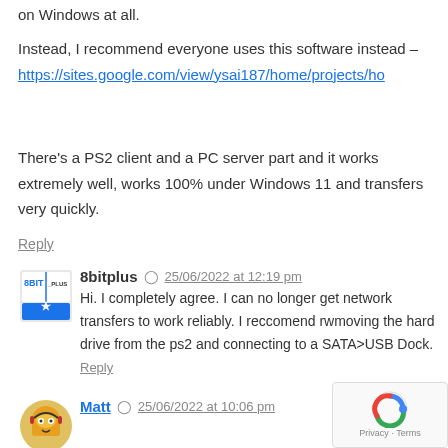on Windows at all.
Instead, I recommend everyone uses this software instead – https://sites.google.com/view/ysai187/home/projects/ho
There's a PS2 client and a PC server part and it works extremely well, works 100% under Windows 11 and transfers very quickly.
Reply
8bitplus  25/06/2022 at 12:19 pm
Hi. I completely agree. I can no longer get network transfers to work reliably. I reccomend rwmoving the hard drive from the ps2 and connecting to a SATA>USB Dock.
Reply
Matt  25/06/2022 at 10:06 pm
Too much hassle lol, seriously, try the tool I linked, it